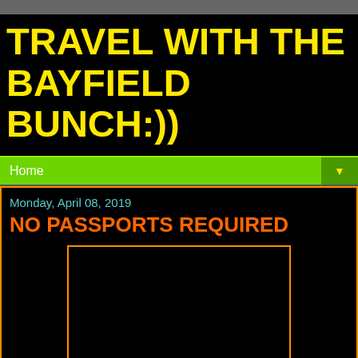TRAVEL WITH THE BAYFIELD BUNCH:))
Home
Monday, April 08, 2019
NO PASSPORTS REQUIRED
[Figure (photo): Black image placeholder box with orange border]